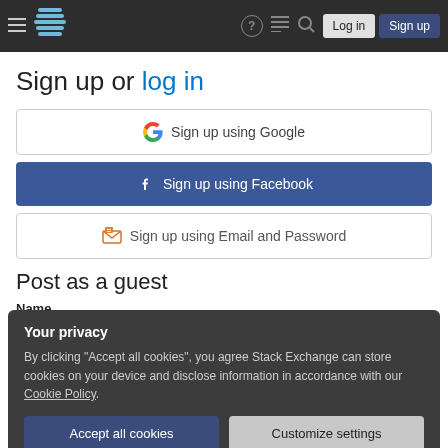[Figure (screenshot): Stack Exchange navigation bar with hamburger menu, SE logo, question mark icon, comments icon, search icon, Log in button, Sign up button]
Sign up or log in
[Figure (other): Sign up using Google button with Google G logo]
[Figure (other): Sign up using Facebook button with Facebook logo, blue background]
[Figure (other): Sign up using Email and Password button with Stack Exchange icon]
Post as a guest
Name
Your privacy
By clicking "Accept all cookies", you agree Stack Exchange can store cookies on your device and disclose information in accordance with our Cookie Policy.
Accept all cookies
Customize settings